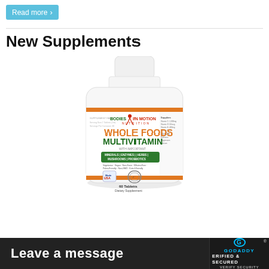Read more
New Supplements
[Figure (photo): A white supplement bottle with label 'Bodies in Motion Nutrition - Whole Foods Multivitamin with Important Minerals, Enzymes, Herbs, Mushrooms, Probiotics. 60 Tablets Dietary Supplement. Made in USA.']
We now have
Leave a message
[Figure (logo): GoDaddy Verified & Secured badge]